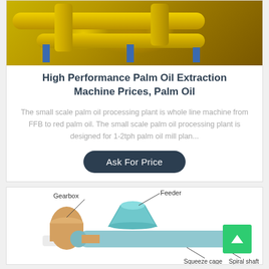[Figure (photo): Yellow industrial machinery/pipes (palm oil extraction machine) on blue metal supports in a factory setting]
High Performance Palm Oil Extraction Machine Prices, Palm Oil
The small scale palm oil processing plant is whole line machine from FFB to red palm oil. The small scale palm oil processing plant is designed for 1-2tph palm oil mill plan...
Ask For Price
[Figure (engineering-diagram): Diagram of a palm oil press/expeller machine with labeled parts: Gearbox, Feeder, Squeeze cage, Spiral shaft]